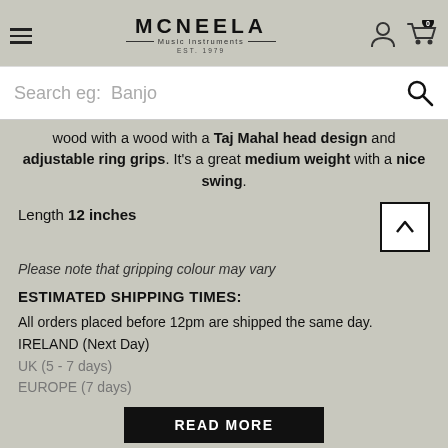MCNEELA Music Instruments EST. 1979
Search eg: Banjo
wood with a Taj Mahal head design and adjustable ring grips. It's a great medium weight with a nice swing.
Length 12 inches
Please note that gripping colour may vary
ESTIMATED SHIPPING TIMES:
All orders placed before 12pm are shipped the same day.
IRELAND (Next Day)
UK (5 - 7 days)
EUROPE (7 days)
READ MORE